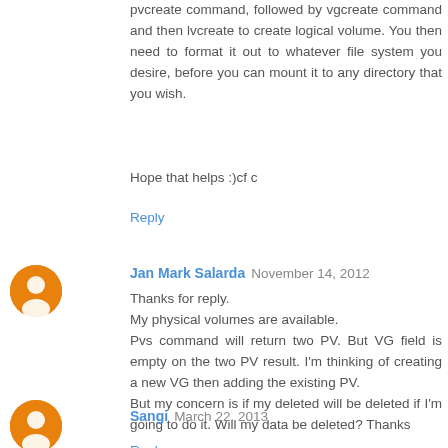pvcreate command, followed by vgcreate command and then lvcreate to create logical volume. You then need to format it out to whatever file system you desire, before you can mount it to any directory that you wish.
Hope that helps :)cf c
Reply
Jan Mark Salarda  November 14, 2012
Thanks for reply.
My physical volumes are available.
Pvs command will return two PV. But VG field is empty on the two PV result. I'm thinking of creating a new VG then adding the existing PV.
But my concern is if my deleted will be deleted if I'm going to do it. Will my data be deleted? Thanks
Reply
Sangi  March 22, 2013